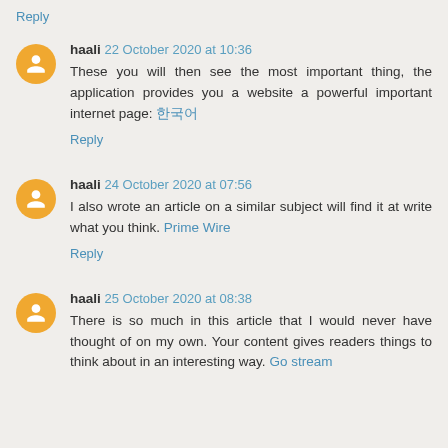Reply
haali 22 October 2020 at 10:36
These you will then see the most important thing, the application provides you a website a powerful important internet page: 한국어
Reply
haali 24 October 2020 at 07:56
I also wrote an article on a similar subject will find it at write what you think. Prime Wire
Reply
haali 25 October 2020 at 08:38
There is so much in this article that I would never have thought of on my own. Your content gives readers things to think about in an interesting way. Go stream